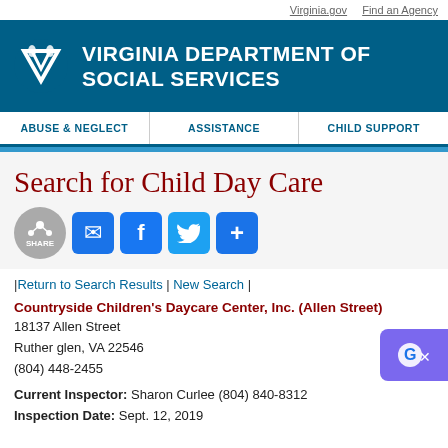Virginia.gov   Find an Agency
[Figure (logo): Virginia Department of Social Services logo with V emblem on teal background]
Search for Child Day Care
[Figure (infographic): Share, Email, Facebook, Twitter, and plus social sharing buttons]
|Return to Search Results | New Search |
Countryside Children's Daycare Center, Inc. (Allen Street)
18137 Allen Street
Ruther glen, VA 22546
(804) 448-2455
Current Inspector: Sharon Curlee (804) 840-8312
Inspection Date: Sept. 12, 2019